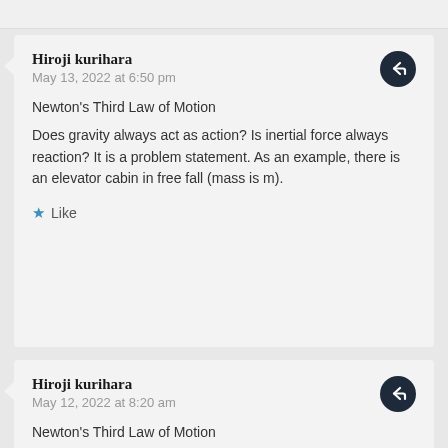Hiroji kurihara
May 13, 2022 at 6:50 pm
Newton's Third Law of Motion
Does gravity always act as action? Is inertial force always reaction? It is a problem statement. As an example, there is an elevator cabin in free fall (mass is m).
Like
Hiroji kurihara
May 12, 2022 at 8:20 am
Newton's Third Law of Motion